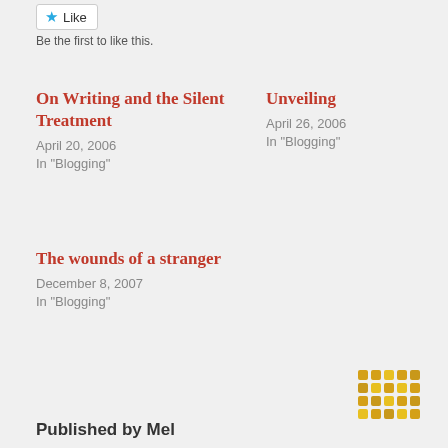[Figure (other): Like button with blue star icon]
Be the first to like this.
On Writing and the Silent Treatment
April 20, 2006
In "Blogging"
Unveiling
April 26, 2006
In "Blogging"
The wounds of a stranger
December 8, 2007
In "Blogging"
Published by Mel
[Figure (other): Gravatar / avatar icon made of yellow/gold dots]